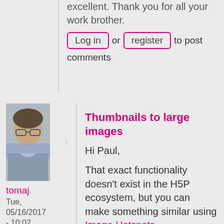excellent. Thank you for all your work brother.
Log in or register to post comments
[Figure (photo): Profile photo of user tomaj — a man with glasses sitting in what appears to be a vehicle]
tomaj
Tue, 05/16/2017 - 10:02
permalink
Thumbnails to large images
Hi Paul,
That exact functionality doesn't exist in the H5P ecosystem, but you can make something similar using Image Hotspots.